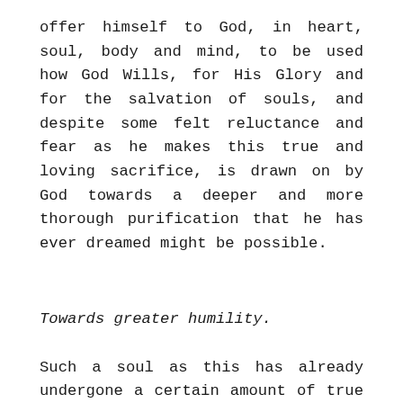offer himself to God, in heart, soul, body and mind, to be used how God Wills, for His Glory and for the salvation of souls, and despite some felt reluctance and fear as he makes this true and loving sacrifice, is drawn on by God towards a deeper and more thorough purification that he has ever dreamed might be possible.
Towards greater humility.
Such a soul as this has already undergone a certain amount of true purification.  He has been purified in one sense, even by his falls: or rather, by the results of sin acknowledged and repented of, since these falls can propel the good soul towards a far greater